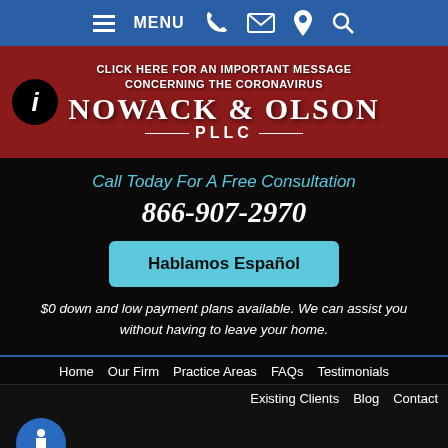MENU (navigation bar with hamburger menu, phone, email, location, search icons)
[Figure (screenshot): Red banner with info circle icon, coronavirus message, and Nowack & Olson PLLC law firm logo]
CLICK HERE FOR AN IMPORTANT MESSAGE CONCERNING THE CORONAVIRUS
NOWACK & OLSON PLLC
Call Today For A Free Consultation
866-907-2970
Hablamos Español
$0 down and low payment plans available. We can assist you without having to leave your home.
Home
Our Firm
Practice Areas
FAQs
Testimonials
Existing Clients
Blog
Contact